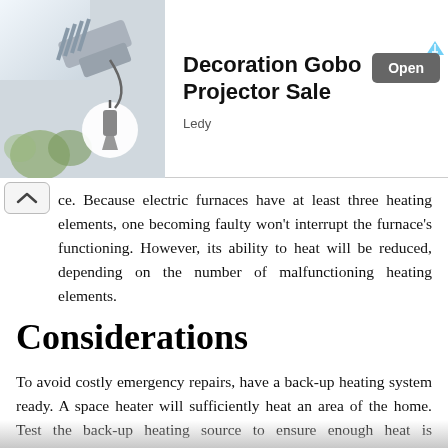[Figure (advertisement): Advertisement banner: image of a decorative gobo projector on the left, text 'Decoration Gobo Projector Sale' with brand 'Ledy' and an 'Open' button on the right. Small ad arrow icon in top right.]
ce. Because electric furnaces have at least three heating elements, one becoming faulty won't interrupt the furnace's functioning. However, its ability to heat will be reduced, depending on the number of malfunctioning heating elements.
Considerations
To avoid costly emergency repairs, have a back-up heating system ready. A space heater will sufficiently heat an area of the home. Test the back-up heating source to ensure enough heat is distributed to comfortably heat the home. Larger homes may require several space heaters to provide enough heat in specific areas of the home.